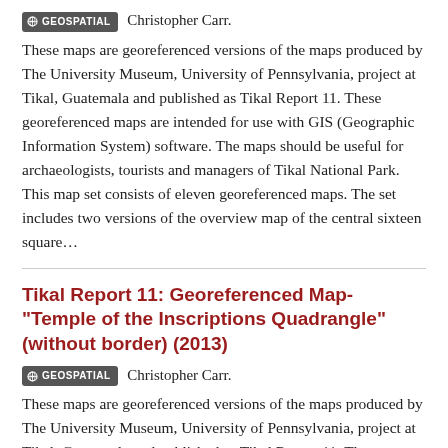GEOSPATIAL  Christopher Carr.
These maps are georeferenced versions of the maps produced by The University Museum, University of Pennsylvania, project at Tikal, Guatemala and published as Tikal Report 11. These georeferenced maps are intended for use with GIS (Geographic Information System) software. The maps should be useful for archaeologists, tourists and managers of Tikal National Park. This map set consists of eleven georeferenced maps. The set includes two versions of the overview map of the central sixteen square...
Tikal Report 11: Georeferenced Map- "Temple of the Inscriptions Quadrangle" (without border) (2013)
GEOSPATIAL  Christopher Carr.
These maps are georeferenced versions of the maps produced by The University Museum, University of Pennsylvania, project at Tikal, Guatemala and published as Tikal Report 11. These georeferenced maps are intended for use with GIS (Geographic Information System) software...